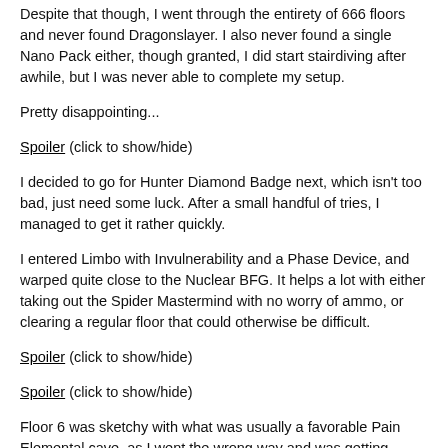Despite that though, I went through the entirety of 666 floors and never found Dragonslayer. I also never found a single Nano Pack either, though granted, I did start stairdiving after awhile, but I was never able to complete my setup.
Pretty disappointing...
Spoiler (click to show/hide)
I decided to go for Hunter Diamond Badge next, which isn't too bad, just need some luck. After a small handful of tries, I managed to get it rather quickly.
I entered Limbo with Invulnerability and a Phase Device, and warped quite close to the Nuclear BFG. It helps a lot with either taking out the Spider Mastermind with no worry of ammo, or clearing a regular floor that could otherwise be difficult.
Spoiler (click to show/hide)
Spoiler (click to show/hide)
Floor 6 was sketchy with what was usually a favorable Pain Elemental cave, as I went the wrong way and was getting overwhelmed:
Spoiler (click to show/hide)
Spoiler (click to show/hide)